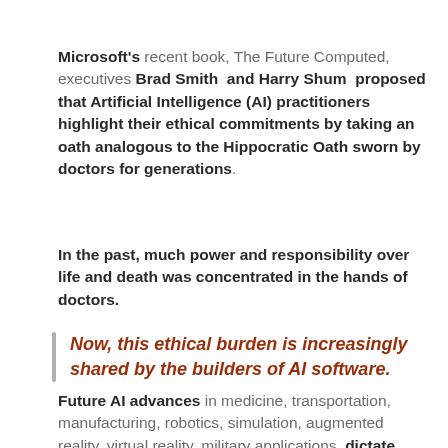Microsoft's recent book, The Future Computed, executives Brad Smith and Harry Shum proposed that Artificial Intelligence (AI) practitioners highlight their ethical commitments by taking an oath analogous to the Hippocratic Oath sworn by doctors for generations.
In the past, much power and responsibility over life and death was concentrated in the hands of doctors.
Now, this ethical burden is increasingly shared by the builders of AI software.
Future AI advances in medicine, transportation, manufacturing, robotics, simulation, augmented reality, virtual reality, military applications, dictate that AI be